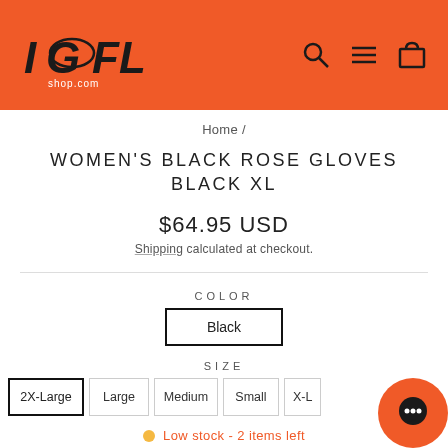IGFL shop.com
Home /
WOMEN'S BLACK ROSE GLOVES BLACK XL
$64.95 USD
Shipping calculated at checkout.
COLOR
Black
SIZE
2X-Large
Large
Medium
Small
X-L
Low stock - 2 items left